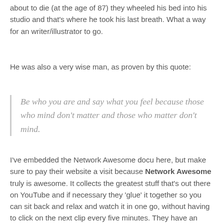about to die (at the age of 87) they wheeled his bed into his studio and that's where he took his last breath. What a way for an writer/illustrator to go.
He was also a very wise man, as proven by this quote:
Be who you are and say what you feel because those who mind don't matter and those who matter don't mind.
I've embedded the Network Awesome docu here, but make sure to pay their website a visit because Network Awesome truly is awesome. It collects the greatest stuff that's out there on YouTube and if necessary they 'glue' it together so you can sit back and relax and watch it in one go, without having to click on the next clip every five minutes. They have an awesome collection of old tv